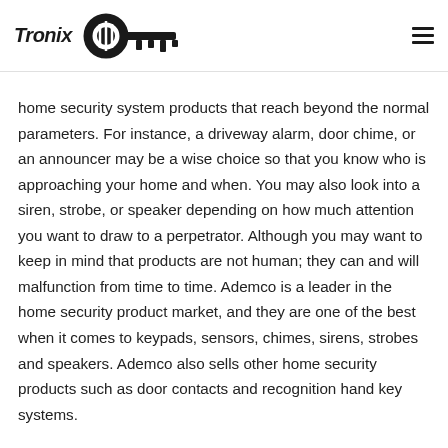Tronix [logo with key icon and hamburger menu]
home security system products that reach beyond the normal parameters. For instance, a driveway alarm, door chime, or an announcer may be a wise choice so that you know who is approaching your home and when. You may also look into a siren, strobe, or speaker depending on how much attention you want to draw to a perpetrator. Although you may want to keep in mind that products are not human; they can and will malfunction from time to time. Ademco is a leader in the home security product market, and they are one of the best when it comes to keypads, sensors, chimes, sirens, strobes and speakers. Ademco also sells other home security products such as door contacts and recognition hand key systems.
You may also want to look into the option of making your home secure by placing what appears to be an alarm system outside